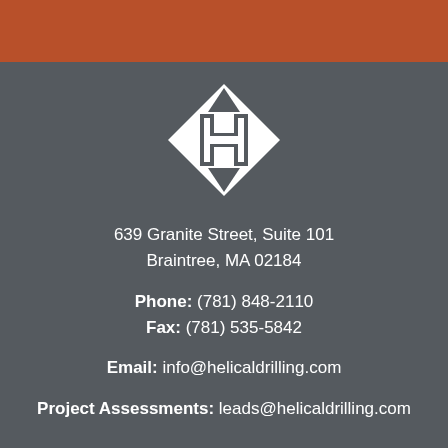[Figure (logo): Helical Drilling logo: white diamond shape with H letter and arrows pointing up and down]
639 Granite Street, Suite 101
Braintree, MA 02184
Phone: (781) 848-2110
Fax: (781) 535-5842
Email: info@helicaldrilling.com
Project Assessments: leads@helicaldrilling.com